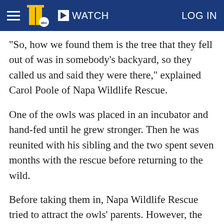WATCH  LOG IN
"So, how we found them is the tree that they fell out of was in somebody's backyard, so they called us and said they were there," explained Carol Poole of Napa Wildlife Rescue.
One of the owls was placed in an incubator and hand-fed until he grew stronger. Then he was reunited with his sibling and the two spent seven months with the rescue before returning to the wild.
Before taking them in, Napa Wildlife Rescue tried to attract the owls' parents. However, the babies appeared to be abandoned.
"I went and spent a whole day out there and never